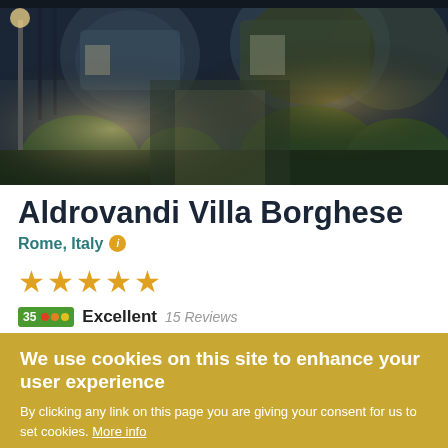[Figure (photo): Night exterior photo of Aldrovandi Villa Borghese hotel showing illuminated entrance with glass domes, ornate iron gates, topiary hedges, and warm lighting against a dark sky]
Aldrovandi Villa Borghese
Rome, Italy
★★★★★
Excellent 15 Reviews
We use cookies on this site to enhance your user experience
By clicking any link on this page you are giving your consent for us to set cookies. More info
OK, I agree
Decline